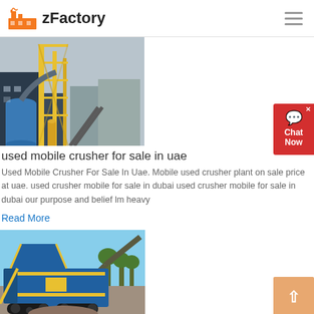zFactory
[Figure (photo): Industrial plant / mining facility with yellow scaffolding structures, large blue cylindrical silos, conveyor systems, and factory buildings against a grey sky.]
used mobile crusher for sale in uae
Used Mobile Crusher For Sale In Uae. Mobile used crusher plant on sale price at uae. used crusher mobile for sale in dubai used crusher mobile for sale in dubai our purpose and belief lm heavy
Read More
[Figure (photo): Blue tracked mobile crusher / jaw crusher machine on a job site with gravel and trees in background, with excavator arm visible.]